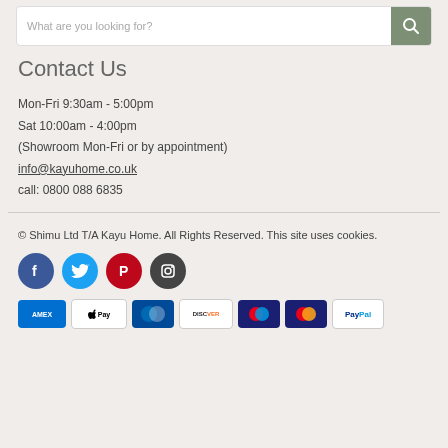[Figure (screenshot): Search bar with placeholder text 'What are you looking for?' and a sage green search button with magnifier icon]
Contact Us
Mon-Fri 9:30am - 5:00pm
Sat 10:00am - 4:00pm
(Showroom Mon-Fri or by appointment)
info@kayuhome.co.uk
call: 0800 088 6835
© Shimu Ltd T/A Kayu Home. All Rights Reserved. This site uses cookies.
[Figure (logo): Social media icons: Facebook (blue), Twitter (light blue), Pinterest (red), Instagram (dark grey)]
[Figure (logo): Payment method icons: Amex, Apple Pay, Diners Club, Discover, Mastercard (red/blue circles), Mastercard (red/yellow), PayPal]